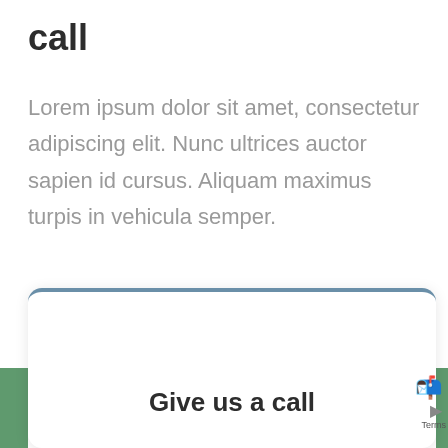call
Lorem ipsum dolor sit amet, consectetur adipiscing elit. Nunc ultrices auctor sapien id cursus. Aliquam maximus turpis in vehicula semper.
Give us a call